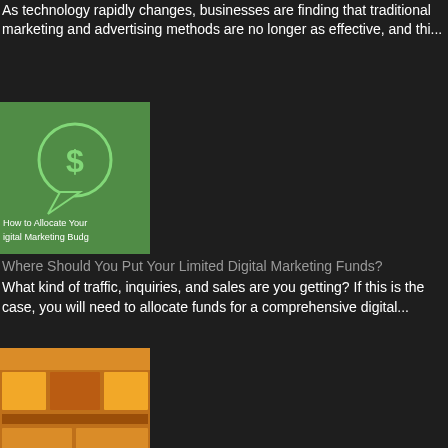As technology rapidly changes, businesses are finding that traditional marketing and advertising methods are no longer as effective, and thi...
[Figure (illustration): Green thumbnail image for digital marketing budget article with dollar sign speech bubble icon and text 'How to Allocate Your Digital Marketing Budget']
Where Should You Put Your Limited Digital Marketing Funds?
What kind of traffic, inquiries, and sales are you getting? If this is the case, you will need to allocate funds for a comprehensive digital...
[Figure (screenshot): Thumbnail screenshot showing a colorful website or template layout with orange and green food/grocery themed design]
How To Expand Your Business Online Using Templates
While the world is progressing towards a digital metaverse, you may wish to expand your business online and advertise your products to every...
Bootstrap Business Blog Blasts
[Figure (illustration): Blue thumbnail image showing analytics/demand generation concept with magnifying glass over charts and bar graphs]